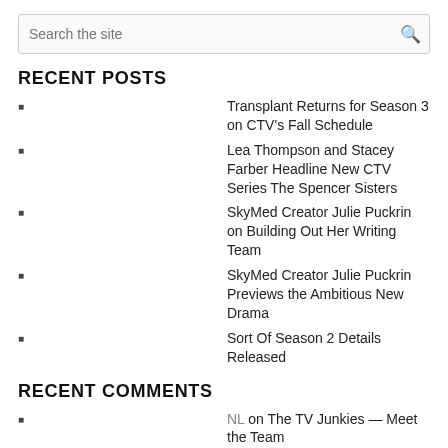[Figure (screenshot): Search input box with placeholder 'Search the site' and a magnifying glass icon]
RECENT POSTS
Transplant Returns for Season 3 on CTV's Fall Schedule
Lea Thompson and Stacey Farber Headline New CTV Series The Spencer Sisters
SkyMed Creator Julie Puckrin on Building Out Her Writing Team
SkyMed Creator Julie Puckrin Previews the Ambitious New Drama
Sort Of Season 2 Details Released
RECENT COMMENTS
NL on The TV Junkies — Meet the Team
Bridget Liszewski on The TV Junkies — Meet the Team
NL on The TV Junkies — Meet the Team